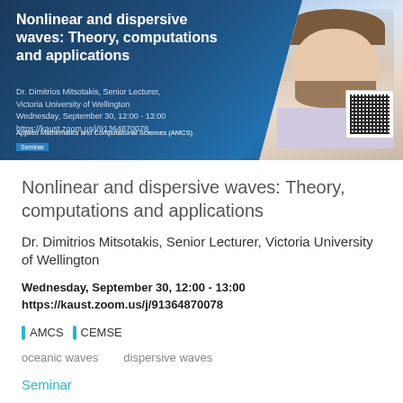[Figure (photo): Seminar announcement banner with dark blue background, title text on left, speaker photo on right (man with brown beard), QR code, and AMCS label. Title: 'Nonlinear and dispersive waves: Theory, computations and applications'. Speaker: Dr. Dimitrios Mitsotakis, Senior Lecturer, Victoria University of Wellington. Date: Wednesday, September 30, 12:00 - 13:00. URL: https://kaust.zoom.us/j/91364870078]
Nonlinear and dispersive waves: Theory, computations and applications
Dr. Dimitrios Mitsotakis, Senior Lecturer, Victoria University of Wellington
Wednesday, September 30, 12:00 - 13:00
https://kaust.zoom.us/j/91364870078
AMCS   CEMSE
oceanic waves    dispersive waves
Seminar